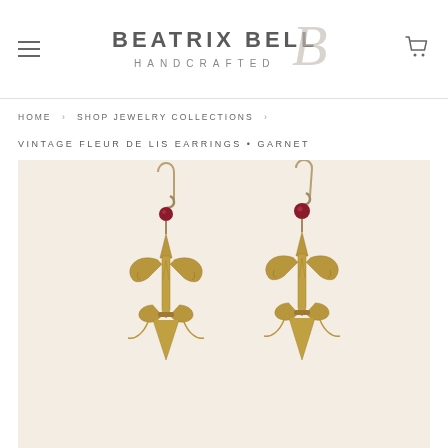BEATRIX BELL HANDCRAFTED
HOME › SHOP JEWELRY COLLECTIONS ›
VINTAGE FLEUR DE LIS EARRINGS • GARNET
[Figure (photo): Two vintage-style fleur de lis earrings with antique brass/bronze finish and deep red/garnet beads on ear wires, photographed on a light cream background.]